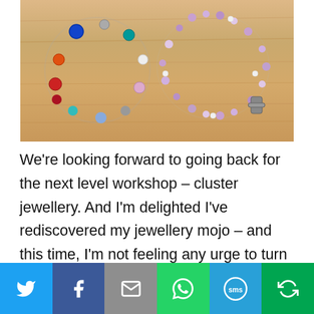[Figure (photo): Two beaded bracelets on a wooden surface. Left bracelet has multicolored beads (red, blue, teal, white, silver). Right bracelet has purple crystal and pearl beads with a silver charm toggle clasp.]
We're looking forward to going back for the next level workshop – cluster jewellery. And I'm delighted I've rediscovered my jewellery mojo – and this time, I'm not feeling any urge to turn it into a business!
[Figure (infographic): Social sharing bar with six buttons: Twitter (blue bird icon), Facebook (dark blue f icon), Email (grey envelope icon), WhatsApp (green phone icon), SMS (blue SMS bubble icon), More (green circular arrows icon).]